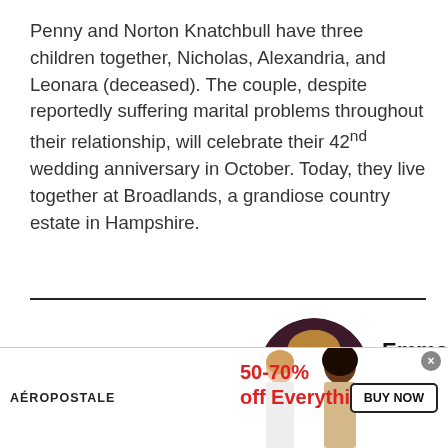Penny and Norton Knatchbull have three children together, Nicholas, Alexandria, and Leonara (deceased). The couple, despite reportedly suffering marital problems throughout their relationship, will celebrate their 42nd wedding anniversary in October. Today, they live together at Broadlands, a grandiose country estate in Hampshire.
[Figure (photo): Circular profile photo of Emma Dooney, a young woman with light brown hair, resting her chin on her hand, against a dark background.]
Emma Dooney
[Figure (logo): Twitter bird icon in blue, circular background.]
[Figure (photo): Aeropostale advertisement banner showing two female models, text '50-70% off Everything!' in red, and a 'BUY NOW' button.]